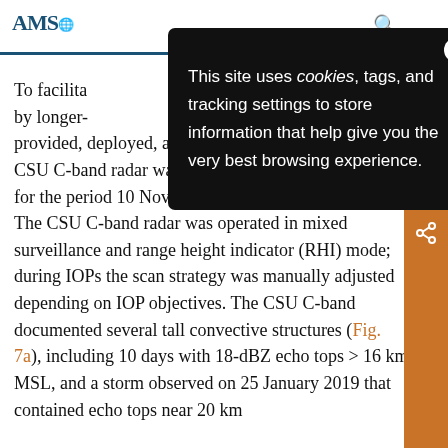AMS
[Figure (screenshot): Cookie consent banner overlay with text: This site uses cookies, tags, and tracking settings to store information that help give you the very best browsing experience.]
To facilitate ... main by longer- ... provided, deployed, and operated C-band radars. The CSU C-band radar was operated near Lozada, Córdoba for the period 10 November 2018–31 January 2019. The CSU C-band radar was operated in mixed surveillance and range height indicator (RHI) mode; during IOPs the scan strategy was manually adjusted depending on IOP objectives. The CSU C-band documented several tall convective structures (Fig. 7a), including 10 days with 18-dBZ echo tops > 16 km MSL, and a storm observed on 25 January 2019 that contained echo tops near 20 km